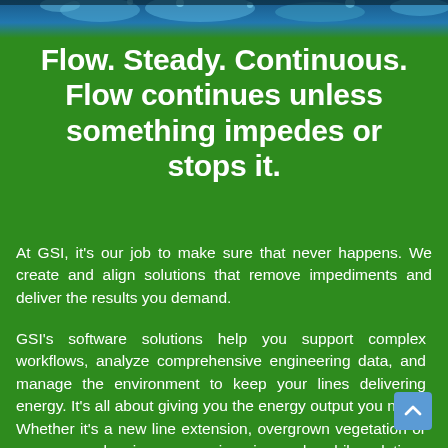[Figure (photo): Top banner image showing water flow or fluid dynamics with blue tones, partially visible at top of page]
Flow. Steady. Continuous. Flow continues unless something impedes or stops it.
At GSI, it's our job to make sure that never happens. We create and align solutions that remove impediments and deliver the results you demand.
GSI's software solutions help you support complex workflows, analyze comprehensive engineering data, and manage the environment to keep your lines delivering energy. It's all about giving you the energy output you need. Whether it's a new line extension, overgrown vegetation or manpower planning, our engineering and mobile solutions keep your organization completely aligned.